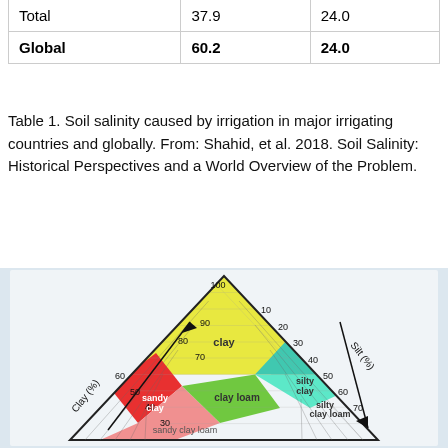|  |  |  |
| --- | --- | --- |
| Total | 37.9 | 24.0 |
| Global | 60.2 | 24.0 |
Table 1. Soil salinity caused by irrigation in major irrigating countries and globally. From: Shahid, et al. 2018. Soil Salinity: Historical Perspectives and a World Overview of the Problem.
[Figure (engineering-diagram): Soil texture triangle (ternary diagram) showing soil classifications including clay, silty clay, sandy clay, clay loam, silty clay loam, sandy clay loam. Axes: Clay (%), Silt (%), and Sand (%). The triangle is divided into colored regions — yellow for clay, teal/green for silty clay and silty clay loam, red for sandy clay, pink for sandy clay loam, and green for clay loam. Axis ticks from 10 to 100 are shown on all three sides.]